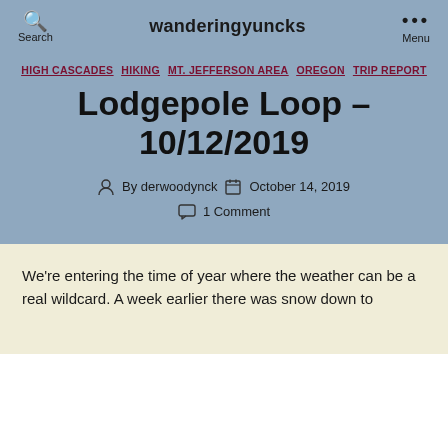wanderingyuncks
HIGH CASCADES  HIKING  MT. JEFFERSON AREA  OREGON  TRIP REPORT
Lodgepole Loop – 10/12/2019
By derwoodynck  October 14, 2019  1 Comment
We're entering the time of year where the weather can be a real wildcard. A week earlier there was snow down to